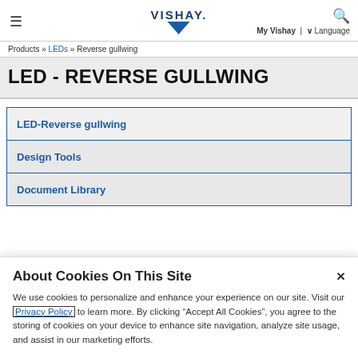≡  VISHAY.  My Vishay | ∨ Language  🔍
Products » LEDs » Reverse gullwing
LED - REVERSE GULLWING
LED-Reverse gullwing
Design Tools
Document Library
About Cookies On This Site
We use cookies to personalize and enhance your experience on our site. Visit our Privacy Policy to learn more. By clicking "Accept All Cookies", you agree to the storing of cookies on your device to enhance site navigation, analyze site usage, and assist in our marketing efforts.